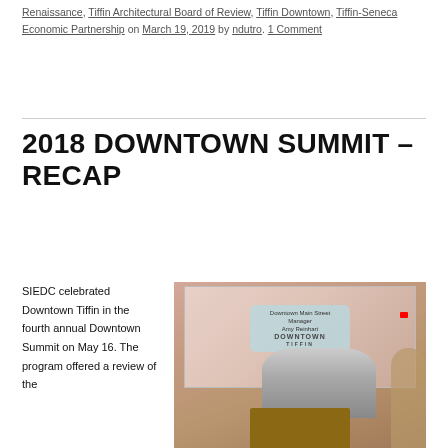Renaissance, Tiffin Architectural Board of Review, Tiffin Downtown, Tiffin-Seneca Economic Partnership on March 19, 2019 by ndutro. 1 Comment
2018 DOWNTOWN SUMMIT – RECAP
SIEDC celebrated Downtown Tiffin in the fourth annual Downtown Summit on May 16. The program offered a review of the
[Figure (photo): A woman speaking at a podium in front of a projection screen showing 'Downtown Main Street Manager Amy Reinhart' with a Downtown Tiffin logo]